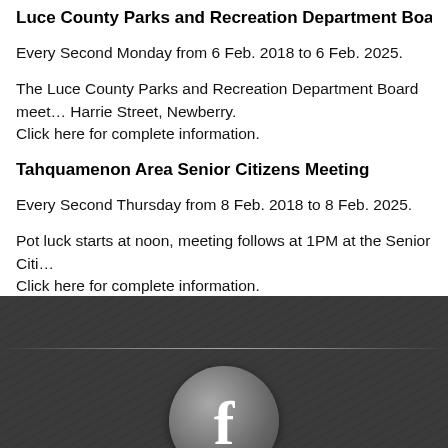Luce County Parks and Recreation Department Board Meet…
Every Second Monday from 6 Feb. 2018 to 6 Feb. 2025.
The Luce County Parks and Recreation Department Board meet… Harrie Street, Newberry.
Click here for complete information.
Tahquamenon Area Senior Citizens Meeting
Every Second Thursday from 8 Feb. 2018 to 8 Feb. 2025.
Pot luck starts at noon, meeting follows at 1PM at the Senior Citi…
Click here for complete information.
[Figure (illustration): Dark footer area with a horizontal dividing line and a Facebook icon (circular grey button with white 'f' letter) centered at the bottom.]